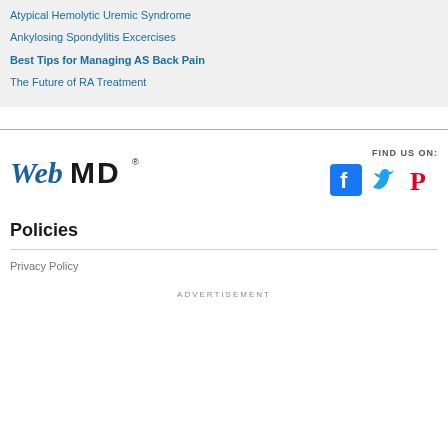Atypical Hemolytic Uremic Syndrome
Ankylosing Spondylitis Excercises
Best Tips for Managing AS Back Pain
The Future of RA Treatment
[Figure (logo): WebMD logo - italic blue 'Web' followed by bold black 'MD' with registered trademark symbol]
FIND US ON:
[Figure (logo): Facebook, Twitter, and Pinterest social media icons]
Policies
Privacy Policy
ADVERTISEMENT